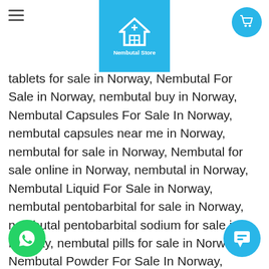Nembutal Store — navigation header with logo and cart button
tablets for sale in Norway, Nembutal For Sale in Norway, nembutal buy in Norway, Nembutal Capsules For Sale In Norway, nembutal capsules near me in Norway, nembutal for sale in Norway, Nembutal for sale online in Norway, nembutal in Norway, Nembutal Liquid For Sale in Norway, nembutal pentobarbital for sale in Norway, nembutal pentobarbital sodium for sale in Norway, nembutal pills for sale in Norway, Nembutal Powder For Sale In Norway, nembutal sodium in Norway, nembutal suicide in Norway, Nembutal Tablets For Sale in Norway, Order nembutal capsules in Norway, order nembutal pills in Norway, Order nembutal powder online in Norway, Pentobarbital buy in Norway, Pentobarbital for sale in Norway, Pentobarbital in Norway, Pentobarbital natrium buy in Norway, pentobarbital vs phenobarbital in Norway, sodium Pentobarbital in Norway, where can I buy nembutal in Norway, where can I buy nembutal tablets in Norway, where can I buy Pentobarbital in Norway, where can I buy Pentobarbital sodium in Norway, Where to buy nembutal capsules in Norway, where to buy nembutal pills in Norway,